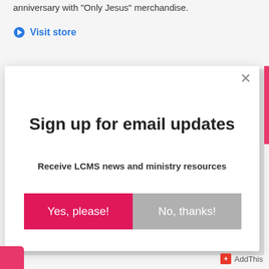anniversary with "Only Jesus" merchandise.
Visit store
Sign up for email updates
Receive LCMS news and ministry resources
Yes, please!
No, thanks!
AddThis